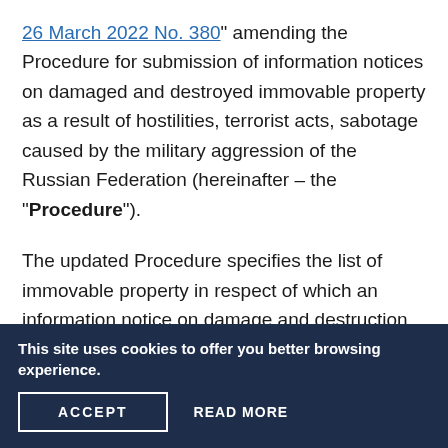26 March 2022 No. 380" amending the Procedure for submission of information notices on damaged and destroyed immovable property as a result of hostilities, terrorist acts, sabotage caused by the military aggression of the Russian Federation (hereinafter – the "Procedure").
The updated Procedure specifies the list of immovable property in respect of which an information notice on damage and destruction may be submitted, namely:
buildings and structures (including joint property of an apartment building)
components of the building / structure
This site uses cookies to offer you better browsing experience.